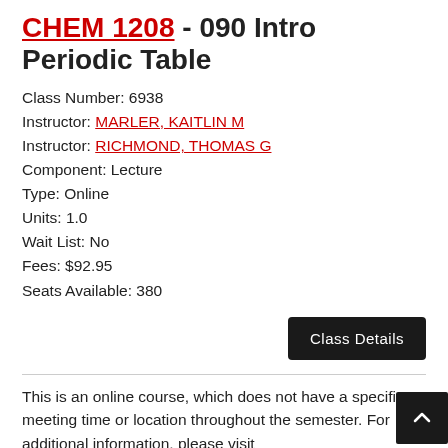CHEM 1208 - 090 Intro Periodic Table
Class Number: 6938
Instructor: MARLER, KAITLIN M
Instructor: RICHMOND, THOMAS G
Component: Lecture
Type: Online
Units: 1.0
Wait List: No
Fees: $92.95
Seats Available: 380
This is an online course, which does not have a specific meeting time or location throughout the semester. For additional information, please visit https://online.utah.edu/about-online-learning/. To